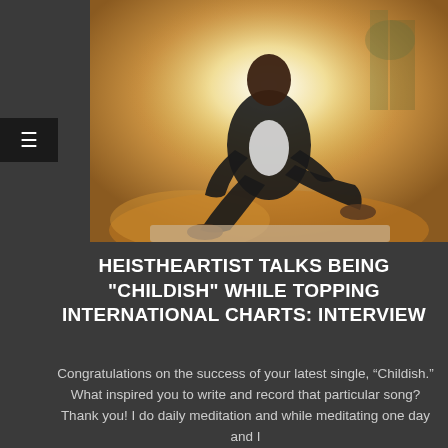[Figure (photo): A man in a dark suit and white shirt sitting casually on a ledge outdoors, with a warm golden and white glowing background effect.]
HEISTHEARTIST TALKS BEING "CHILDISH" WHILE TOPPING INTERNATIONAL CHARTS: INTERVIEW
Congratulations on the success of your latest single, “Childish.” What inspired you to write and record that particular song? Thank you! I do daily meditation and while meditating one day and I